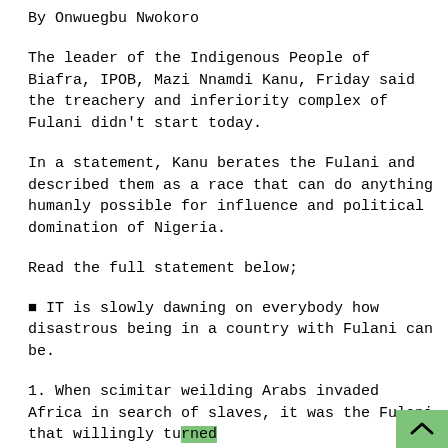By Onwuegbu Nwokoro
The leader of the Indigenous People of Biafra, IPOB, Mazi Nnamdi Kanu, Friday said the treachery and inferiority complex of Fulani didn't start today.
In a statement, Kanu berates the Fulani and described them as a race that can do anything humanly possible for influence and political domination of Nigeria.
Read the full statement below;
■ IT is slowly dawning on everybody how disastrous being in a country with Fulani can be.
1. When scimitar weilding Arabs invaded Africa in search of slaves, it was the Fulani that willingly turned their daughters into prostitutes to service the br...